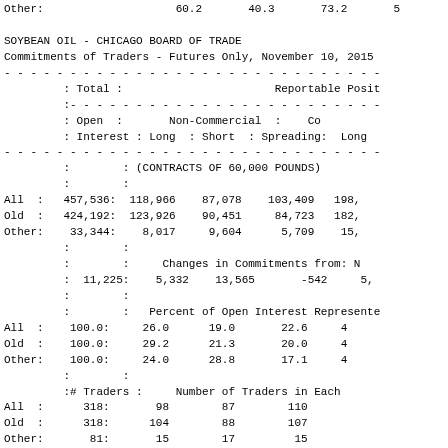| Other: |  | 60.2 | 40.3 | 73.2 | 5 |
|  |  |  |  |  |  |
| SOYBEAN OIL - CHICAGO BOARD OF TRADE |  |  |  |  |  |
| Commitments of Traders - Futures Only, November 10, 2015 |  |  |  |  |  |
| ---dashed--- |  |  |  |  |  |
|  | : Total : |  |  | Reportable Posit |  |
|  | :---dashed--- |  |  |  |  |
|  | : Open : | Non-Commercial | : | Co |  |
|  | : Interest : | Long : Short : Spreading: | Long |  |
| ---dashed--- |  |  |  |  |  |
|  | : | (CONTRACTS OF 60,000 POUNDS) |  |  |  |
|  | : |  |  |  |  |
| All : | 457,536: | 118,966 | 87,078 | 103,409 | 198, |
| Old : | 424,192: | 123,926 | 90,451 | 84,723 | 182, |
| Other: | 33,344: | 8,017 | 9,604 | 5,709 | 15, |
|  | : |  |  |  |  |
|  | : | Changes in Commitments from: N |  |  |  |
|  | : 11,225: | 5,332 | 13,565 | -542 | 5, |
|  | : |  |  |  |  |
|  | : | Percent of Open Interest Represente |  |  |  |
| All : | 100.0: | 26.0 | 19.0 | 22.6 | 4 |
| Old : | 100.0: | 29.2 | 21.3 | 20.0 | 4 |
| Other: | 100.0: | 24.0 | 28.8 | 17.1 | 4 |
|  | : |  |  |  |  |
|  | :# Traders : | Number of Traders in Each |  |  |  |
| All : | 318: | 98 | 87 | 110 |  |
| Old : | 318: | 104 | 88 | 107 |  |
| Other: | 81: | 15 | 17 | 15 |  |
|  | :---dashed--- |  |  |  |  |
|  | : | Percent of Open Interest Held by the T |  |  |  |
|  | : | --- |  |  |  |